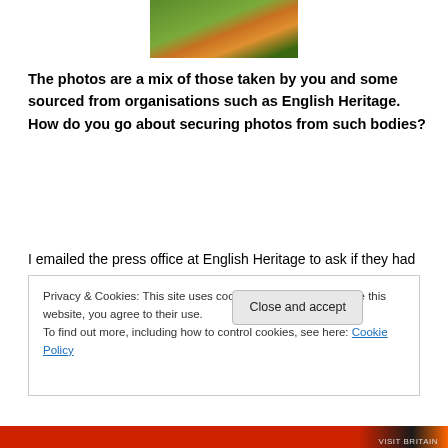[Figure (photo): Partial photo at top showing green grass and orange/yellow object]
The photos are a mix of those taken by you and some sourced from organisations such as English Heritage. How do you go about securing photos from such bodies?
I emailed the press office at English Heritage to ask if they had photos of Carlisle Castle, and got the rest from the Scottish Tourist Board and from www.visitbritainimages.com. Visit Britain has a great range of photos available for editorial use, for promoting Britain
Privacy & Cookies: This site uses cookies. By continuing to use this website, you agree to their use.
To find out more, including how to control cookies, see here: Cookie Policy
Close and accept